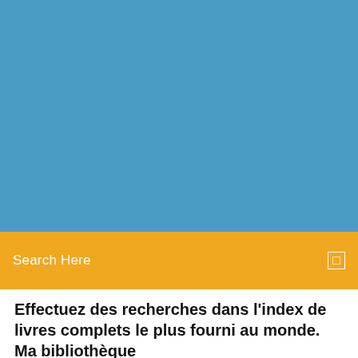[Figure (other): Blue banner/header background]
Search Here
Effectuez des recherches dans l'index de livres complets le plus fourni au monde. Ma bibliothèque
Free radio for everything you do. Store 50,000 tracks from your personal collection. Subscribe for on-demand access to 40 million songs and offline listening.   |
4 Comments